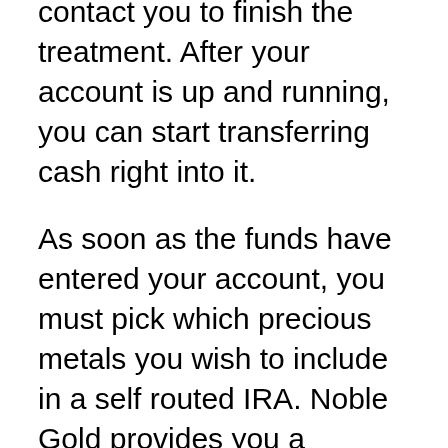contact you to finish the treatment. After your account is up and running, you can start transferring cash right into it.
As soon as the funds have entered your account, you must pick which precious metals you wish to include in a self routed IRA. Noble Gold provides you a selection of numerous internal revenue service accredited rare-earth elements, such as platinum, gold, silver and palladium bars/coins.
In addition, Noble Gold allows rare-earth elements to be bought for personal financial investments. Aside from the above stated financial investment instruments, you can